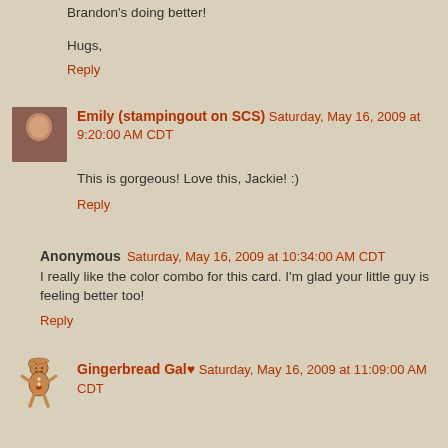Brandon's doing better!
Hugs,
Reply
Emily (stampingout on SCS) Saturday, May 16, 2009 at 9:20:00 AM CDT
This is gorgeous! Love this, Jackie! :)
Reply
Anonymous Saturday, May 16, 2009 at 10:34:00 AM CDT
I really like the color combo for this card. I'm glad your little guy is feeling better too!
Reply
Gingerbread Gal♥ Saturday, May 16, 2009 at 11:09:00 AM CDT